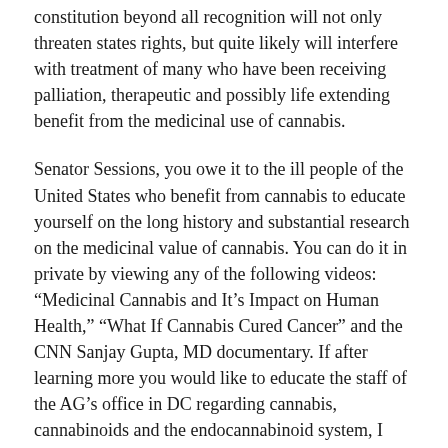constitution beyond all recognition will not only threaten states rights, but quite likely will interfere with treatment of many who have been receiving palliation, therapeutic and possibly life extending benefit from the medicinal use of cannabis.
Senator Sessions, you owe it to the ill people of the United States who benefit from cannabis to educate yourself on the long history and substantial research on the medicinal value of cannabis. You can do it in private by viewing any of the following videos: “Medicinal Cannabis and It’s Impact on Human Health,” “What If Cannabis Cured Cancer” and the CNN Sanjay Gupta, MD documentary. If after learning more you would like to educate the staff of the AG’s office in DC regarding cannabis, cannabinoids and the endocannabinoid system, I would be happy to arrange such a presentation, through physician members of the American Academy of Cannabinoid Medicine.
This medicinal use of cannabis is serious science and